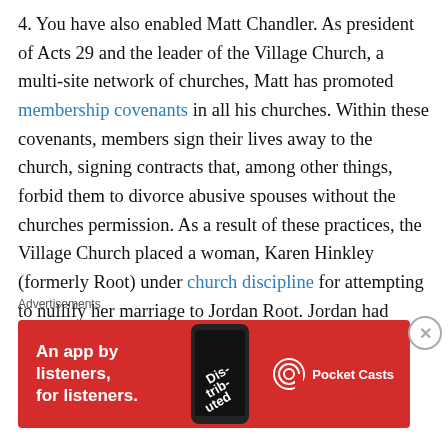4. You have also enabled Matt Chandler. As president of Acts 29 and the leader of the Village Church, a multi-site network of churches, Matt has promoted membership covenants in all his churches. Within these covenants, members sign their lives away to the church, signing contracts that, among other things, forbid them to divorce abusive spouses without the churches permission. As a result of these practices, the Village Church placed a woman, Karen Hinkley (formerly Root) under church discipline for attempting to nullify her marriage to Jordan Root. Jordan had admitted to an active addiction to child pornography and, according to Karen, had admitted to committing sexual assault. Despite this, the church
Advertisements
[Figure (other): Red advertisement banner for Pocket Casts app reading 'An app by listeners, for listeners.' with a phone image and Pocket Casts logo]